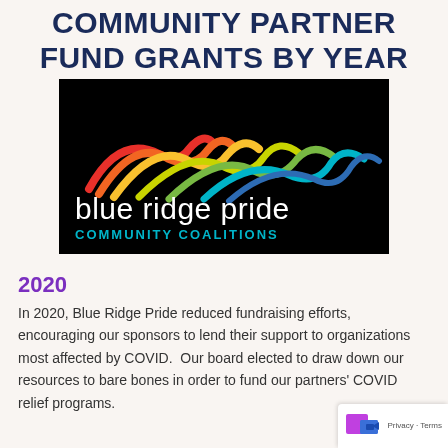COMMUNITY PARTNER FUND GRANTS BY YEAR
[Figure (logo): Blue Ridge Pride Community Coalitions logo: rainbow mountain silhouette on black background with white text 'blue ridge pride' and teal text 'COMMUNITY COALITIONS']
2020
In 2020, Blue Ridge Pride reduced fundraising efforts, encouraging our sponsors to lend their support to organizations most affected by COVID.  Our board elected to draw down our resources to bare bones in order to fund our partners' COVID relief programs.